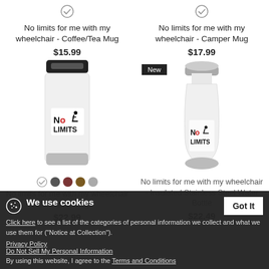[Figure (photo): Coffee/Tea Travel Mug with No Limits wheelchair logo]
No limits for me with my wheelchair - Coffee/Tea Mug
$15.99
[Figure (photo): Insulated Stainless Steel Water Bottle with No Limits wheelchair logo, with New badge]
No limits for me with my wheelchair - Camper Mug
$17.99
No limits for me with my wheelchair - Travel Mug
$22.99
No limits for me with my wheelchair - Insulated Stainless Steel Water Bottle
$22.49
We use cookies
Click here to see a list of the categories of personal information we collect and what we use them for ("Notice at Collection").
Privacy Policy
Do Not Sell My Personal Information
By using this website, I agree to the Terms and Conditions
Got It